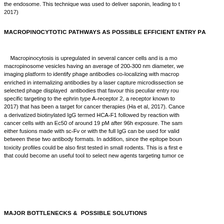the endosome. This technique was used to deliver saponin, leading to t… 2017)
MACROPINOCYTOTIC PATHWAYS AS POSSIBLE EFFICIENT ENTRY PA
Macropinocytosis is upregulated in several cancer cells and is a mo… macropinosome vesicles having an average of 200-300 nm diameter, we… imaging platform to identify phage antibodies co-localizing with macrop… enriched in internalizing antibodies by a laser capture microdissection se… selected phage displayed antibodies that favour this peculiar entry rou… specific targeting to the ephrin type A-receptor 2, a receptor known to… 2017) that has been a target for cancer therapies (Ha et al, 2017). Cance… a derivatized biotinylated IgG termed HCA-F1 followed by reaction with… cancer cells with an Ec50 of around 19 pM after 96h exposure. The sam… either fusions made with sc-Fv or with the full IgG can be used for valid… between these two antibody formats. In addition, since the epitope boun… toxicity profiles could be also first tested in small rodents. This is a first e… that could become an useful tool to select new agents targeting tumor ce
MAJOR BOTTLENECKS & POSSIBLE SOLUTIONS